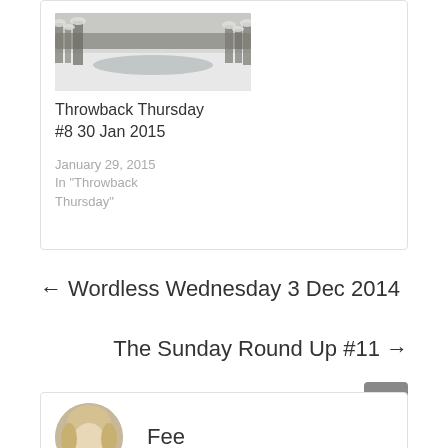[Figure (photo): Black and white winter landscape photo showing a snow-covered river or stream with trees in background]
Throwback Thursday #8 30 Jan 2015
January 29, 2015
In "Throwback Thursday"
← Wordless Wednesday 3 Dec 2014
The Sunday Round Up #11 →
[Figure (photo): Circular avatar photo of a woman with blonde/light hair]
Fee